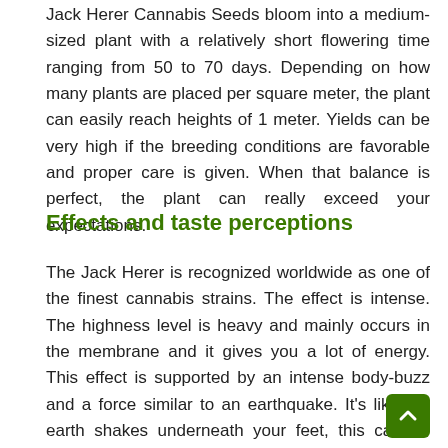Jack Herer Cannabis Seeds bloom into a medium-sized plant with a relatively short flowering time ranging from 50 to 70 days. Depending on how many plants are placed per square meter, the plant can easily reach heights of 1 meter. Yields can be very high if the breeding conditions are favorable and proper care is given. When that balance is perfect, the plant can really exceed your expectations.
Effects and taste perceptions
The Jack Herer is recognized worldwide as one of the finest cannabis strains. The effect is intense. The highness level is heavy and mainly occurs in the membrane and it gives you a lot of energy. This effect is supported by an intense body-buzz and a force similar to an earthquake. It's like the earth shakes underneath your feet, this can be very pleasant while you feel like your head is in the clouds. The flavor can be best described as a spicy-, lemon-, haze-like flavor.